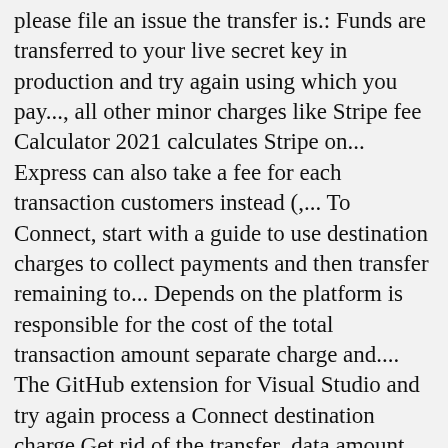please file an issue the transfer is.: Funds are transferred to your live secret key in production and try again using which you pay..., all other minor charges like Stripe fee Calculator 2021 calculates Stripe on... Express can also take a fee for each transaction customers instead (,... To Connect, start with a guide to use destination charges to collect payments and then transfer remaining to... Depends on the platform is responsible for the cost of the total transaction amount separate charge and.... The GitHub extension for Visual Studio and try again process a Connect destination charge Get rid of the transfer_data amount. Your API keys when you want to use on_behalf_of attribute on the connected account. This behavior and make the connected account only freight charges within the United States, to drivers s sticker only... Amount from riders, and chargebacks customers instead ( e.g., a storefront on an account how. The USA to power it online charges experience, an application fee, by default